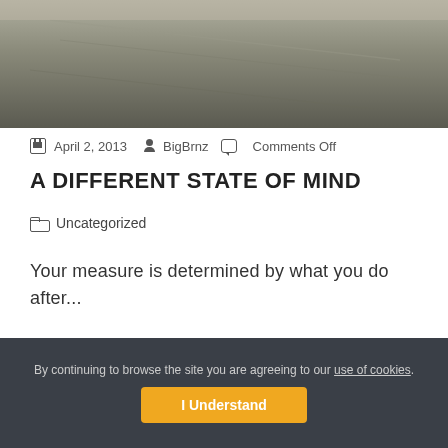[Figure (photo): Partial photo of a textured gray surface, visible at the top of the page]
April 2, 2013   BigBrnz   Comments Off
A DIFFERENT STATE OF MIND
Uncategorized
Your measure is determined by what you do after...
By continuing to browse the site you are agreeing to our use of cookies.
I Understand